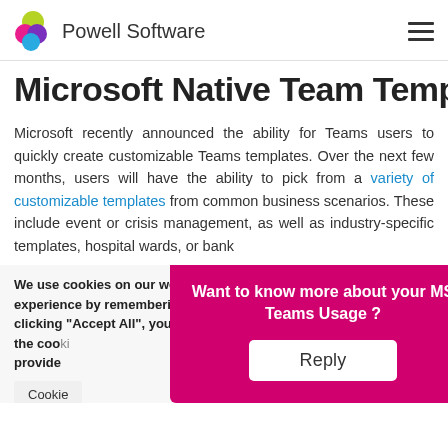Powell Software
Microsoft Native Team Templates
Microsoft recently announced the ability for Teams users to quickly create customizable Teams templates. Over the next few months, users will have the ability to pick from a variety of customizable templates from common business scenarios. These include event or crisis management, as well as industry-specific templates, hospital wards, or bank
We use cookies on our website to give you the most relevant experience by remembering your preferences and repeat visits. By clicking “Accept All”, you consent to the use of ALL the cookies. However, you may visit "Cookie Settings" to provide
Cookie
[Figure (infographic): Pink/magenta popup modal overlay with white text 'Want to know more about your MS Teams Usage ?' and a white 'Reply' button]